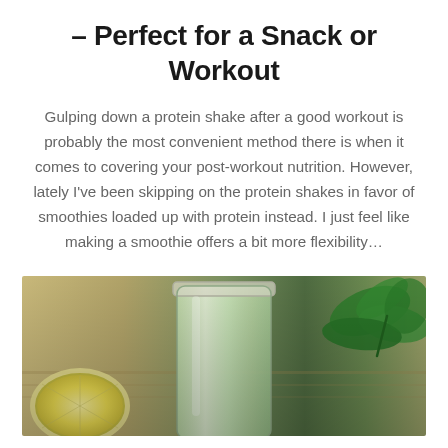– Perfect for a Snack or Workout
Gulping down a protein shake after a good workout is probably the most convenient method there is when it comes to covering your post-workout nutrition. However, lately I've been skipping on the protein shakes in favor of smoothies loaded up with protein instead. I just feel like making a smoothie offers a bit more flexibility…
[Figure (photo): A glass jar filled with green smoothie on a wooden surface, with lemon wedges on the left and fresh kale/greens on the right.]